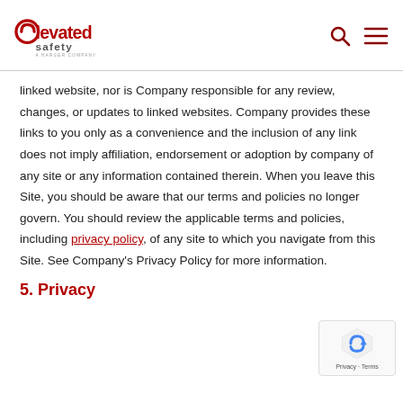Elevated Safety logo, search icon, menu icon
linked website, nor is Company responsible for any review, changes, or updates to linked websites. Company provides these links to you only as a convenience and the inclusion of any link does not imply affiliation, endorsement or adoption by company of any site or any information contained therein. When you leave this Site, you should be aware that our terms and policies no longer govern. You should review the applicable terms and policies, including privacy policy, of any site to which you navigate from this Site. See Company's Privacy Policy for more information.
5. Privacy